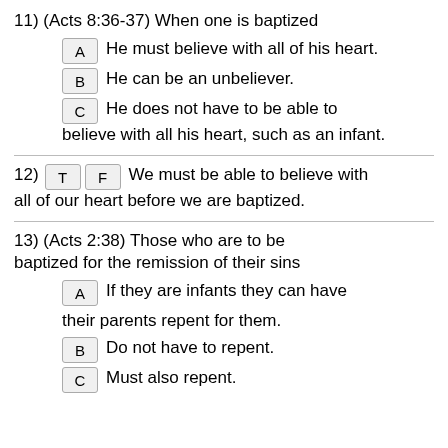11) (Acts 8:36-37) When one is baptized
A  He must believe with all of his heart.
B  He can be an unbeliever.
C  He does not have to be able to believe with all his heart, such as an infant.
12) T F  We must be able to believe with all of our heart before we are baptized.
13) (Acts 2:38) Those who are to be baptized for the remission of their sins
A  If they are infants they can have their parents repent for them.
B  Do not have to repent.
C  Must also repent.